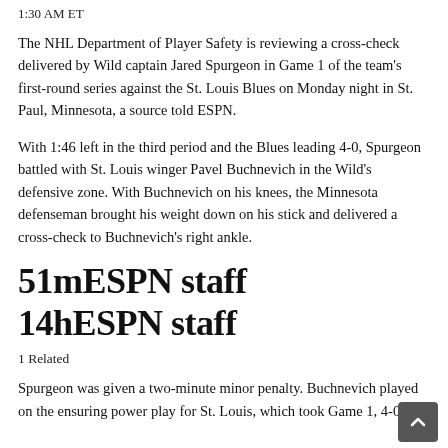1:30 AM ET
The NHL Department of Player Safety is reviewing a cross-check delivered by Wild captain Jared Spurgeon in Game 1 of the team's first-round series against the St. Louis Blues on Monday night in St. Paul, Minnesota, a source told ESPN.
With 1:46 left in the third period and the Blues leading 4-0, Spurgeon battled with St. Louis winger Pavel Buchnevich in the Wild's defensive zone. With Buchnevich on his knees, the Minnesota defenseman brought his weight down on his stick and delivered a cross-check to Buchnevich's right ankle.
51mESPN staff
14hESPN staff
1 Related
Spurgeon was given a two-minute minor penalty. Buchnevich played on the ensuring power play for St. Louis, which took Game 1, 4-0.